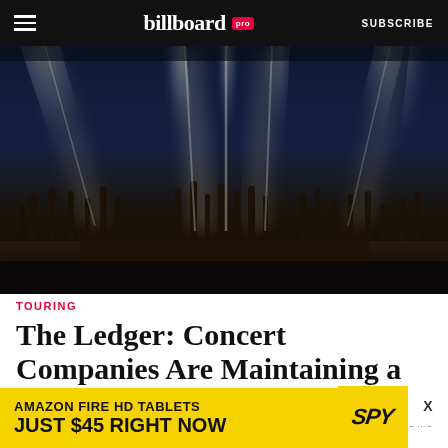billboard pro  SUBSCRIBE
[Figure (photo): Concert crowd with hands raised in the air, spotlight beams shining down from above onto a large audience at a live music event, dark dramatic lighting]
TOURING
The Ledger: Concert Companies Are Maintaining a Rosy Outlook for the Rest of 2022
BY GLENN PEOPLES    23 hrs
[Figure (other): Advertisement banner: AMAZON FIRE HD TABLETS JUST $45 RIGHT NOW with SPY logo and yellow background]